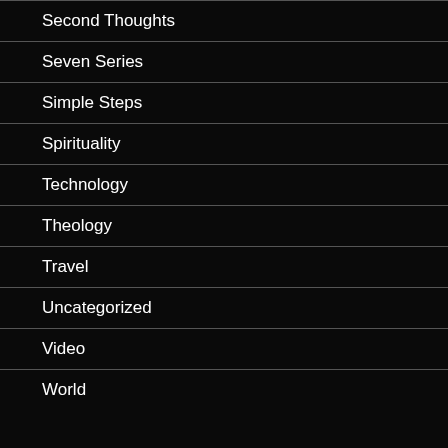Second Thoughts
Seven Series
Simple Steps
Spirituality
Technology
Theology
Travel
Uncategorized
Video
World